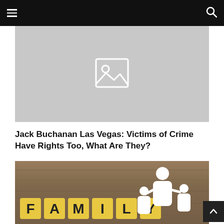[hamburger menu] [search icon]
[Figure (photo): Placeholder image with image icon on grey background]
Jack Buchanan Las Vegas: Victims of Crime Have Rights Too, What Are They?
[Figure (photo): Photo of letter tiles spelling FAMILY with white paper cut-out family figures on a wooden background]